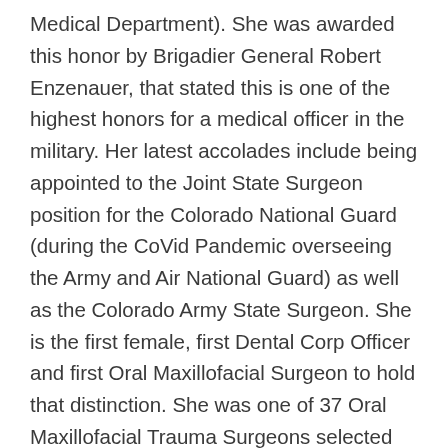Medical Department). She was awarded this honor by Brigadier General Robert Enzenauer, that stated this is one of the highest honors for a medical officer in the military. Her latest accolades include being appointed to the Joint State Surgeon position for the Colorado National Guard (during the CoVid Pandemic overseeing the Army and Air National Guard) as well as the Colorado Army State Surgeon. She is the first female, first Dental Corp Officer and first Oral Maxillofacial Surgeon to hold that distinction. She was one of 37 Oral Maxillofacial Trauma Surgeons selected and inducted as a fellow into the American College of Surgeons in 2017 and the American College of Dentist in 2019. She is one of the first female Oral Maxillofacial Surgeon inducted in the nationally acclaimed “Trademark Women of Distinction Award.” She was also selected